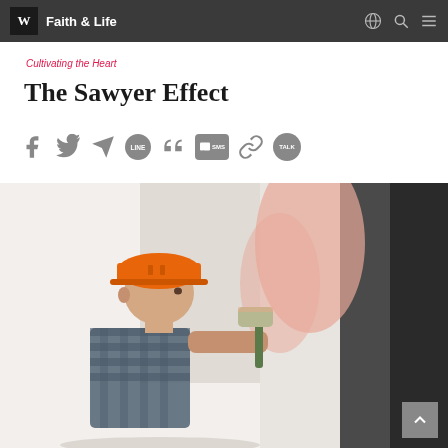W Faith & Life
Cultivating the Heart
The Sawyer Effect
[Figure (infographic): Social share icons row: Facebook, Twitter, Telegram, LINE, Quote, SMS, Link, KakaoTalk]
[Figure (photo): Young boy wearing an orange hard hat painting a wall with a roller brush, wearing a plaid shirt, side profile view]